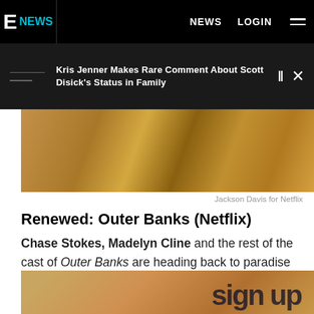E NEWS  NEWS  LOGIN
Kris Jenner Makes Rare Comment About Scott Disick's Status in Family
[Figure (photo): Partial photo of cast from Outer Banks, orange/warm toned]
Jackson Davis for Netflix
Renewed: Outer Banks (Netflix)
Chase Stokes, Madelyn Cline and the rest of the cast of Outer Banks are heading back to paradise as Netflix announced the hit-drama would be renewed for a third season on Dec. 7
[Figure (photo): Bottom partial photo, warm toned with text 'sign up' visible]